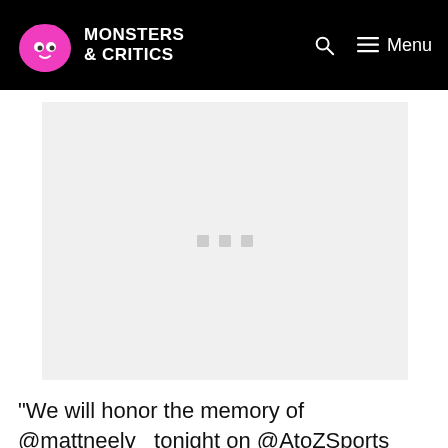MONSTERS & CRITICS
[Figure (other): Advertisement placeholder area with three small gray dots in the center on a light gray background]
“We will honor the memory of @mattneely_ tonight on @AtoZSports Primetime during “This Is A Free Site” No one did more for #Titans